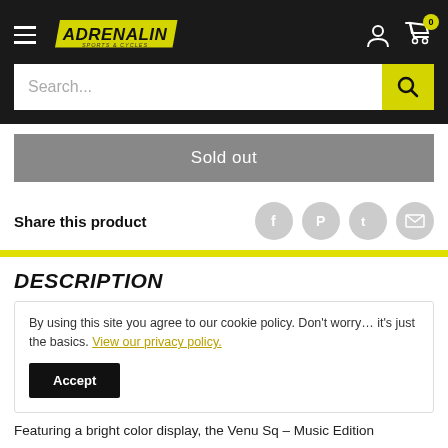Adrenalin Sports & Cycles — Navigation header with search bar
Sold out
Share this product
DESCRIPTION
By using this site you agree to our cookie policy. Don't worry… it's just the basics. View our privacy policy.
Accept
Featuring a bright color display, the Venu Sq – Music Edition